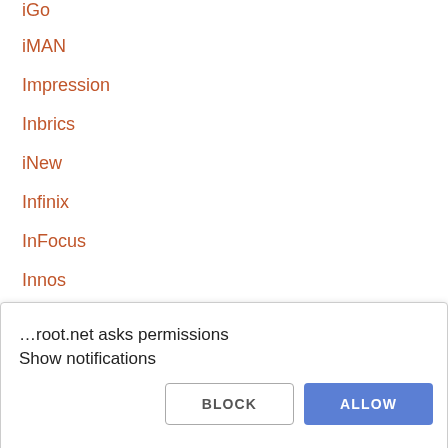iGo
iMAN
Impression
Inbrics
iNew
Infinix
InFocus
Innos
Inoi
INQ
Intex
…root.net asks permissions
Show notifications